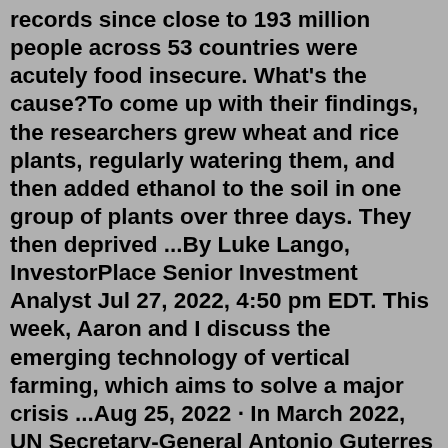records since close to 193 million people across 53 countries were acutely food insecure. What's the cause?To come up with their findings, the researchers grew wheat and rice plants, regularly watering them, and then added ethanol to the soil in one group of plants over three days. They then deprived ...By Luke Lango, InvestorPlace Senior Investment Analyst Jul 27, 2022, 4:50 pm EDT. This week, Aaron and I discuss the emerging technology of vertical farming, which aims to solve a major crisis ...Aug 25, 2022 · In March 2022, UN Secretary-General Antonio Guterres warned of a “hurricane of hunger and a meltdown of the global food system” in the wake of the crisis in Ukraine. Guterres said food, fuel and fertiliser prices were skyrocketing with supply chains being disrupted and added this is hitting the poorest the hardest and planting the seeds for ... Aug 29, 2022 · The folks over at the UN stopped destroying the world for a brief few minutes to publish a piece (snapshot below) justifying their behavior and explaining the “benefits” of the famine they’ve engineered. Not making this up. The